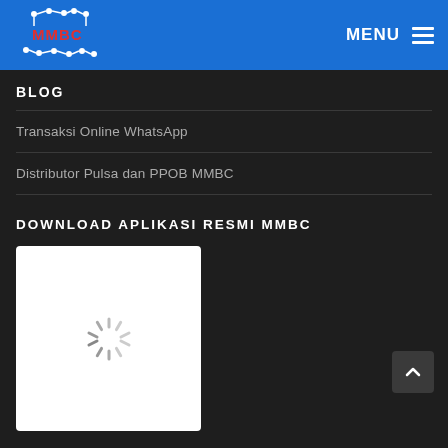MMBC | MENU
BLOG
Transaksi Online WhatsApp
Distributor Pulsa dan PPOB MMBC
DOWNLOAD APLIKASI RESMI MMBC
[Figure (other): White box with loading spinner icon indicating app image loading]